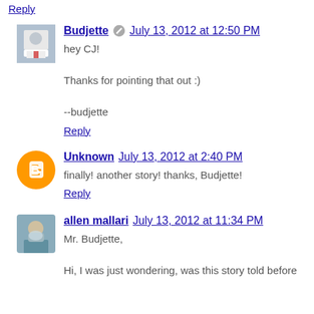Reply
Budjette  July 13, 2012 at 12:50 PM
hey CJ!

Thanks for pointing that out :)

--budjette
Reply
Unknown  July 13, 2012 at 2:40 PM
finally! another story! thanks, Budjette!
Reply
allen mallari  July 13, 2012 at 11:34 PM
Mr. Budjette,
Hi, I was just wondering, was this story told before